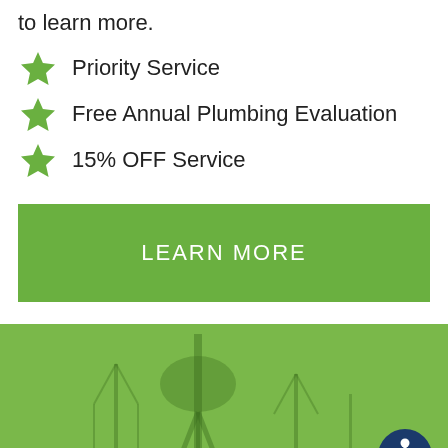to learn more.
Priority Service
Free Annual Plumbing Evaluation
15% OFF Service
LEARN MORE
[Figure (photo): Green-tinted photo of a water tower or industrial structure with antenna towers in the background, with an accessibility icon badge in the bottom right corner.]